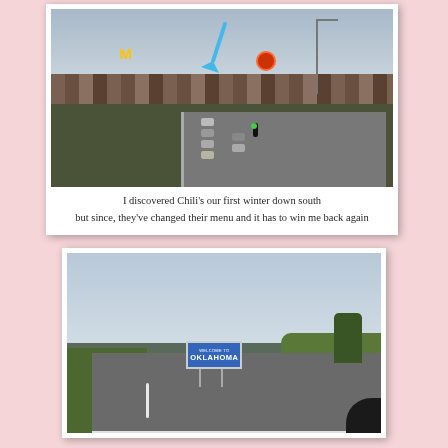[Figure (photo): Road scene showing a commercial strip with McDonald's sign, a blue arrow pointing at a Chili's restaurant sign, cars lined up at an intersection, street lights, and various commercial buildings in the background.]
I discovered Chili's our first winter down south
but since, they've changed their menu and it has to win me back again
[Figure (photo): Road scene showing a highway with a Welcome to Oklahoma state sign visible on the right side of the road, green hills, cloudy sky, and a car interior visible in the lower right corner.]